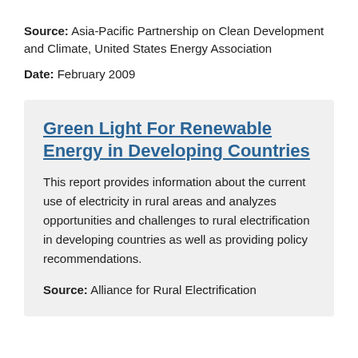Source: Asia-Pacific Partnership on Clean Development and Climate, United States Energy Association
Date: February 2009
Green Light For Renewable Energy in Developing Countries
This report provides information about the current use of electricity in rural areas and analyzes opportunities and challenges to rural electrification in developing countries as well as providing policy recommendations.
Source: Alliance for Rural Electrification